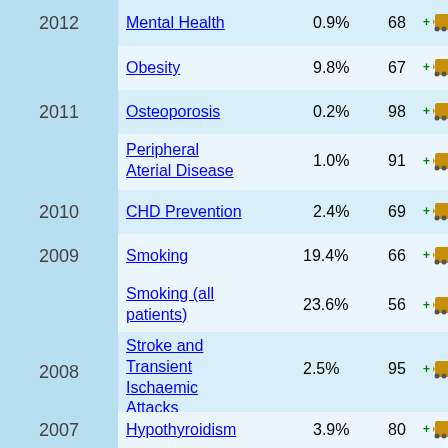| Year | Condition | Prevalence | Score | Actions |
| --- | --- | --- | --- | --- |
| 2012 | Mental Health | 0.9% | 68 | icons |
|  | Obesity | 9.8% | 67 | icons |
| 2011 | Osteoporosis | 0.2% | 98 | icons |
|  | Peripheral Aterial Disease | 1.0% | 91 | icons |
| 2010 | CHD Prevention | 2.4% | 69 | icons |
|  | Smoking | 19.4% | 66 | icons |
| 2009 | Smoking (all patients) | 23.6% | 56 | icons |
| 2008 | Stroke and Transient Ischaemic Attacks | 2.5% | 95 | icons |
| 2007 | Hypothyroidism | 3.9% | 80 | icons |
| 2006 |  |  |  |  |
| 2005 |  |  |  |  |
DUMFRIES AND GALLOWAY Prevalence
[Figure (continuous-plot): Partial bar/line chart showing DUMFRIES AND GALLOWAY Prevalence with y-axis values 30 and 25 visible]